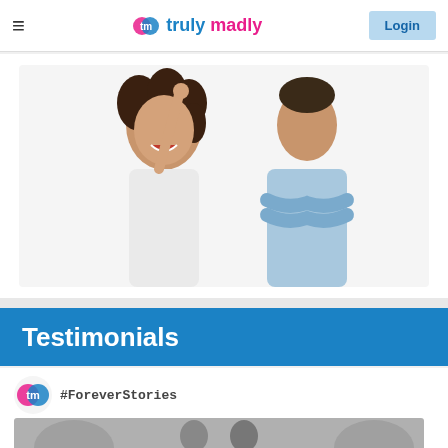TrulyMadly — Login
[Figure (screenshot): Hero image showing a woman with curly hair laughing and pointing up with one finger, and a man in a light blue shirt with arms crossed, on a white background]
Testimonials
[Figure (screenshot): TrulyMadly #ForeverStories social media post thumbnail showing a couple in black and white]